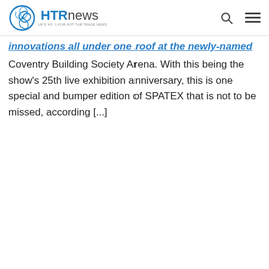HTRnews — UK's No. 1 for Hot Tub Trade News
innovations all under one roof at the newly-named Coventry Building Society Arena. With this being the show's 25th live exhibition anniversary, this is one special and bumper edition of SPATEX that is not to be missed, according [...]